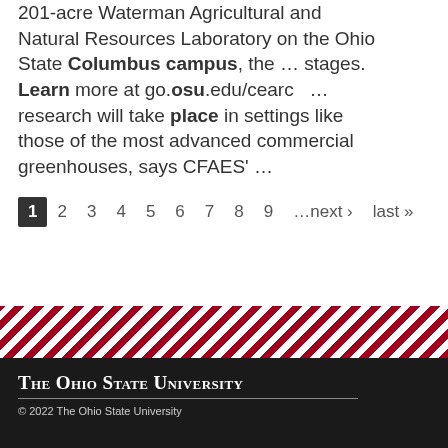201-acre Waterman Agricultural and Natural Resources Laboratory on the Ohio State Columbus campus, the ... stages. Learn more at go.osu.edu/cearc ... research will take place in settings like those of the most advanced commercial greenhouses, says CFAES' ...
1 2 3 4 5 6 7 8 9 …next › last »
The Ohio State University © 2022 The Ohio State University